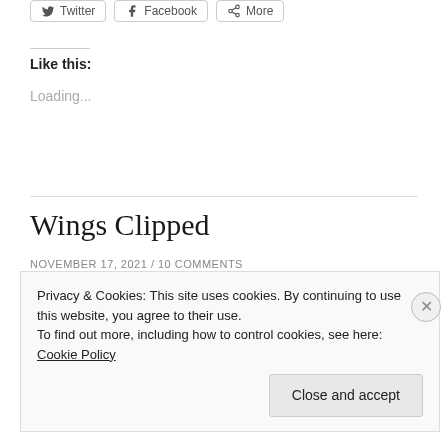[Figure (other): Social share buttons: Twitter, Facebook, More]
Like this:
Loading...
Wings Clipped
NOVEMBER 17, 2021 / 10 COMMENTS
[Figure (photo): Partial photo visible at bottom, appears to be nature/bird themed]
Privacy & Cookies: This site uses cookies. By continuing to use this website, you agree to their use.
To find out more, including how to control cookies, see here: Cookie Policy
Close and accept